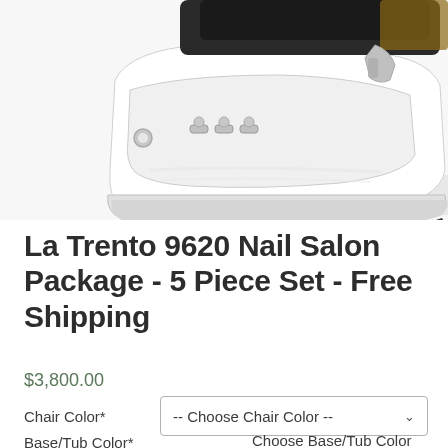[Figure (photo): Product photo of a white nail salon pedicure chair/spa tub unit with chrome fixtures, shot on white background, partially cropped showing the base/tub portion.]
La Trento 9620 Nail Salon Package - 5 Piece Set - Free Shipping
$3,800.00
Chair Color*
-- Choose Chair Color --
Base/Tub Color*
Choose Base/Tub Color